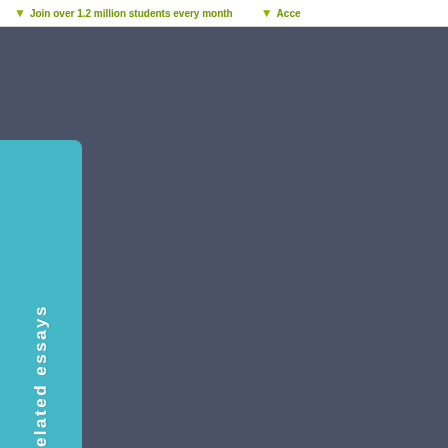Join over 1.2 million students every month   Acce...
[Figure (screenshot): Dark blue-grey panel with a teal/cyan vertical tab button on the left side reading 'See related essays' rotated 90 degrees]
Related GCSE John Betjeman essays
Recently our class read the short...